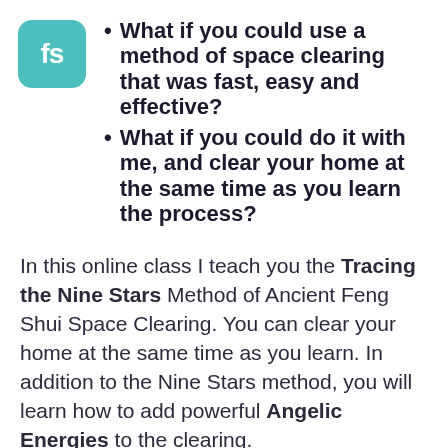[Figure (logo): Round-cornered teal square logo with white letters 'fs']
What if you could use a method of space clearing that was fast, easy and effective?
What if you could do it with me, and clear your home at the same time as you learn the process?
In this online class I teach you the Tracing the Nine Stars Method of Ancient Feng Shui Space Clearing. You can clear your home at the same time as you learn. In addition to the Nine Stars method, you will learn how to add powerful Angelic Energies to the clearing.